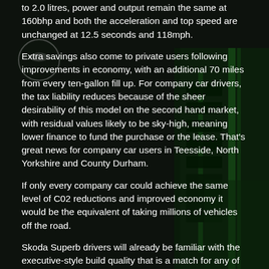[Figure (photo): Background photo of Skoda dealership building at night with green lighting and Skoda branding visible]
to 2.0 litres, power and output remain the same at 160bhp and both the acceleration and top speed are unchanged at 12.5 seconds and 118mph.
Extra savings also come to private users following improvements in economy, with an additional 70 miles from every ten-gallon fill up. For company car drivers, the tax liability reduces because of the sheer desirability of this model on the second hand market, with residual values likely to be sky-high, meaning lower finance to fund the purchase or the lease. That's great news for company car users in Teesside, North Yorkshire and County Durham.
If only every company car could achieve the same level of C02 reductions and improved economy it would be the equivalent of taking millions of vehicles off the road.
Skoda Superb drivers will already be familiar with the executive-style build quality that is a match for any of its German rivals, the VW based Superb is one of the most spacious family sized models on the market. It also features a unique boot lid called Twindoor, allowing the vehicle to become either a saloon or hatchback, depending on which...